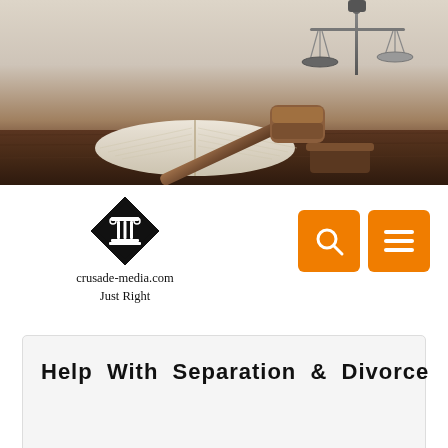[Figure (photo): Hero banner photograph showing a judge's gavel, an open book, and scales of justice on a wooden table against a light beige background]
[Figure (logo): crusade-media.com Just Right logo with a diamond-shaped icon featuring a classical column/pillar design, in black and white]
[Figure (infographic): Two orange square buttons: a search (magnifying glass) icon button and a hamburger menu (three lines) icon button]
Help With Separation & Divorce